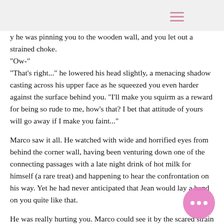y he was pinning you to the wooden wall, and you let out a strained choke.
"Ow-"
"That's right..." he lowered his head slightly, a menacing shadow casting across his upper face as he squeezed you even harder against the surface behind you. "I'll make you squirm as a reward for being so rude to me, how's that? I bet that attitude of yours will go away if I make you faint..."
Marco saw it all. He watched with wide and horrified eyes from behind the corner wall, having been venturing down one of the connecting passages with a late night drink of hot milk for himself (a rare treat) and happening to hear the confrontation on his way. Yet he had never anticipated that Jean would lay a hand on you quite like that.
He was really hurting you. Marco could see it by the scared strain on your face, and he gripped he handle of the ceramic mug tighter within his trembling hand. How could Jean do this to What the hell was his problem!?
He didn't even think then. As soon as your vision